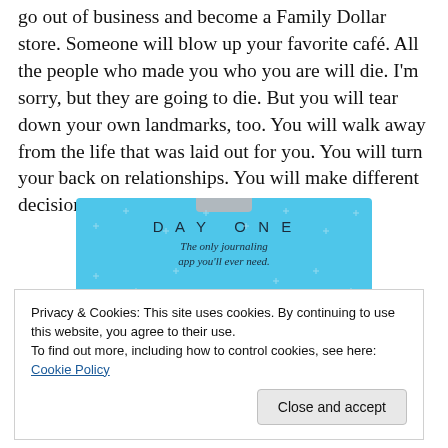go out of business and become a Family Dollar store. Someone will blow up your favorite café. All the people who made you who you are will die. I'm sorry, but they are going to die. But you will tear down your own landmarks, too. You will walk away from the life that was laid out for you. You will turn your back on relationships. You will make different decisions than your grandparents did.
[Figure (other): DAY ONE app advertisement banner. Blue background with sparkle dots. Text reads 'D A Y  O N E' and 'The only journaling app you'll ever need.']
Privacy & Cookies: This site uses cookies. By continuing to use this website, you agree to their use.
To find out more, including how to control cookies, see here: Cookie Policy